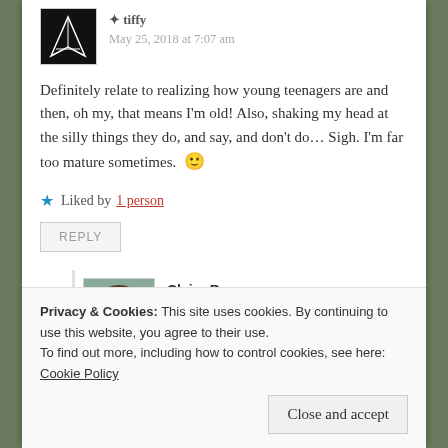May 25, 2018 at 7:07 am
Definitely relate to realizing how young teenagers are and then, oh my, that means I'm old! Also, shaking my head at the silly things they do, and say, and don't do… Sigh. I'm far too mature sometimes. 🙂
★ Liked by 1 person
REPLY
Claire B.
May 30, 2018 at 9:08 am
Privacy & Cookies: This site uses cookies. By continuing to use this website, you agree to their use. To find out more, including how to control cookies, see here: Cookie Policy
Close and accept